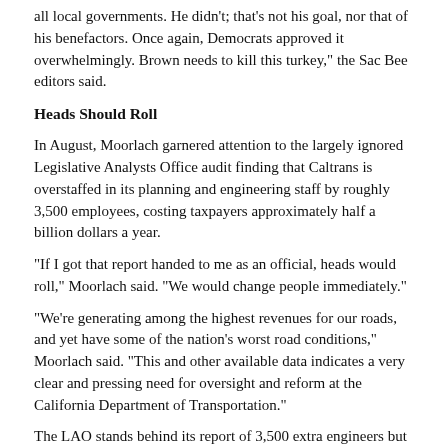all local governments. He didn't; that's not his goal, nor that of his benefactors. Once again, Democrats approved it overwhelmingly. Brown needs to kill this turkey," the Sac Bee editors said.
Heads Should Roll
In August, Moorlach garnered attention to the largely ignored Legislative Analysts Office audit finding that Caltrans is overstaffed in its planning and engineering staff by roughly 3,500 employees, costing taxpayers approximately half a billion dollars a year.
“If I got that report handed to me as an official, heads would roll,” Moorlach said. “We would change people immediately.”
“We’re generating among the highest revenues for our roads, and yet have some of the nation’s worst road conditions,” Moorlach said. “This and other available data indicates a very clear and pressing need for oversight and reform at the California Department of Transportation.”
The LAO stands behind its report of 3,500 extra engineers but revised the number closer to 3,300 after Caltrans provided more accurate data.
Moorlach also focused attention on the recent audit by the California State Auditor showing Caltrans approved the time sheets of an engineer who played golf for 55 workdays from August 2012 to March 2014.
“After being reassigned in April of 2014, supervisors continued to fail to directly supervisor this engineer from May to June of 2014,” Moorlach said in a recent statement. “Institutional changes still are needed during that